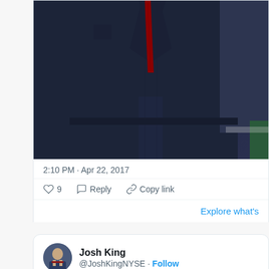[Figure (photo): Cropped photo showing the torso of a person in a dark navy suit with a hint of red/crimson underneath, likely a tie, photographed from waist to shoulder level.]
2:10 PM · Apr 22, 2017
♡ 9   Reply   Copy link
Explore what's
[Figure (photo): Twitter profile avatar of Josh King showing a man in a suit.]
Josh King @JoshKingNYSE · Follow
9. First time I've seen Trump